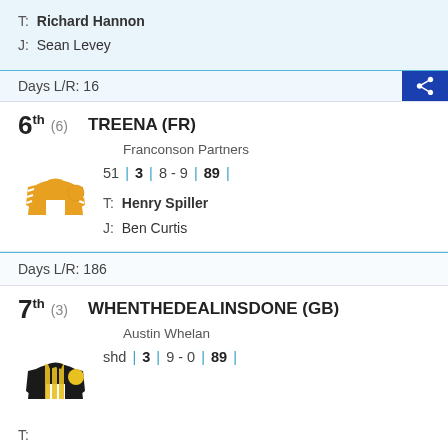T: Richard Hannon
J: Sean Levey
Days L/R: 16
6th (6)  TREENA (FR)
Franconson Partners
51 | 3 | 8 - 9 | 89 |
T: Henry Spiller
J: Ben Curtis
Days L/R: 186
7th (3)  WHENTHEDEALINSDONE (GB)
Austin Whelan
shd | 3 | 9 - 0 | 89 |